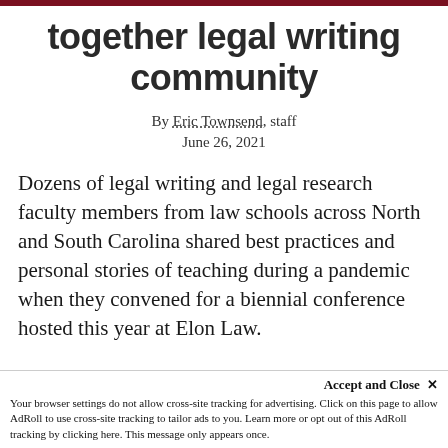together legal writing community
By Eric Townsend, staff
June 26, 2021
Dozens of legal writing and legal research faculty members from law schools across North and South Carolina shared best practices and personal stories of teaching during a pandemic when they convened for a biennial conference hosted this year at Elon Law.
Accept and Close ×
Your browser settings do not allow cross-site tracking for advertising. Click on this page to allow AdRoll to use cross-site tracking to tailor ads to you. Learn more or opt out of this AdRoll tracking by clicking here. This message only appears once.